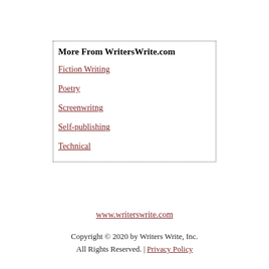More From WritersWrite.com
Fiction Writing
Poetry
Screenwritng
Self-publishing
Technical
www.writerswrite.com
Copyright © 2020 by Writers Write, Inc. All Rights Reserved. | Privacy Policy